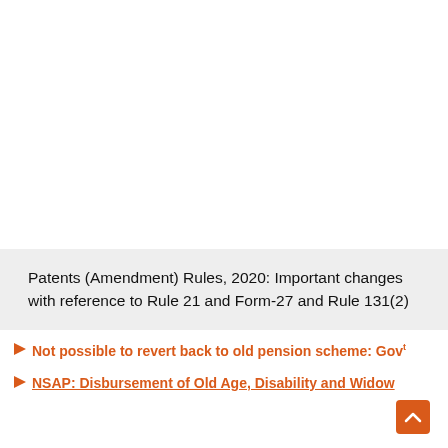Patents (Amendment) Rules, 2020: Important changes with reference to Rule 21 and Form-27 and Rule 131(2)
Not possible to revert back to old pension scheme: Gov
NSAP: Disbursement of Old Age, Disability and Widow